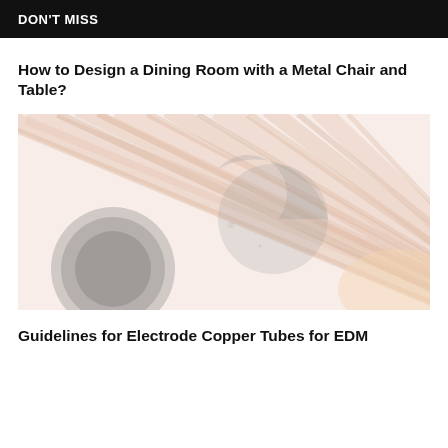DON'T MISS
How to Design a Dining Room with a Metal Chair and Table?
[Figure (photo): Close-up photo of copper electrode tubes for EDM machining, showing bundled cylindrical copper rods with a watermark/logo overlay in the center]
Guidelines for Electrode Copper Tubes for EDM